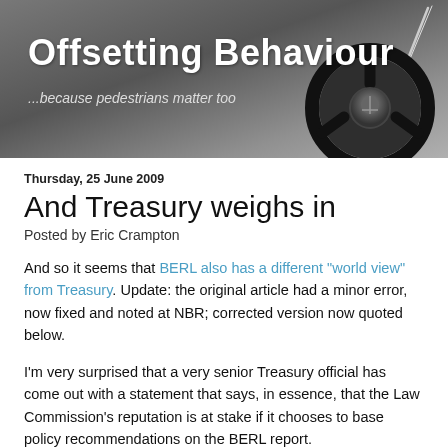[Figure (illustration): Blog header banner with title 'Offsetting Behaviour', subtitle '...because pedestrians matter too', grey gradient background, steering wheel graphic on the right.]
Thursday, 25 June 2009
And Treasury weighs in
Posted by Eric Crampton
And so it seems that BERL also has a different "world view" from Treasury. Update: the original article had a minor error, now fixed and noted at NBR; corrected version now quoted below.
I'm very surprised that a very senior Treasury official has come out with a statement that says, in essence, that the Law Commission's reputation is at stake if it chooses to base policy recommendations on the BERL report.